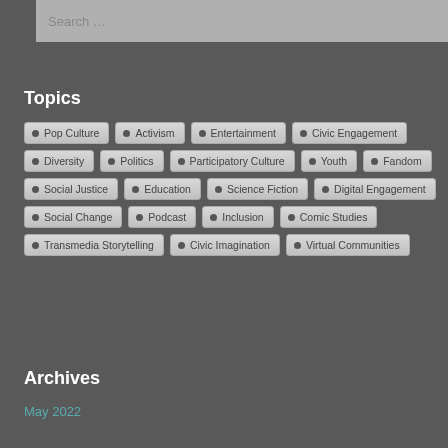Search …
Topics
Pop Culture
Activism
Entertainment
Civic Engagement
Diversity
Politics
Participatory Culture
Youth
Fandom
Social Justice
Education
Science Fiction
Digital Engagement
Social Change
Podcast
Inclusion
Comic Studies
Transmedia Storytelling
Civic Imagination
Virtual Communities
Archives
May 2022